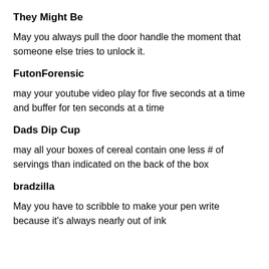They Might Be
May you always pull the door handle the moment that someone else tries to unlock it.
FutonForensic
may your youtube video play for five seconds at a time and buffer for ten seconds at a time
Dads Dip Cup
may all your boxes of cereal contain one less # of servings than indicated on the back of the box
bradzilla
May you have to scribble to make your pen write because it's always nearly out of ink